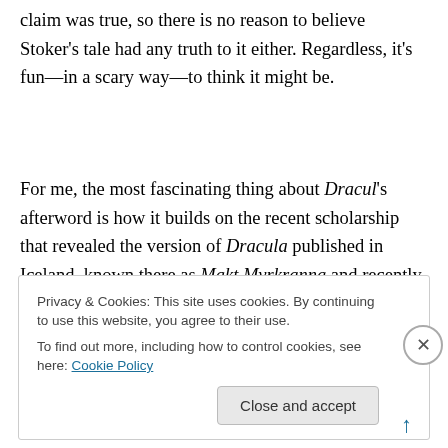claim was true, so there is no reason to believe Stoker's tale had any truth to it either. Regardless, it's fun—in a scary way—to think it might be.
For me, the most fascinating thing about Dracul's afterword is how it builds on the recent scholarship that revealed the version of Dracula published in Iceland, known there as Makt Myrkranna and recently translated
Privacy & Cookies: This site uses cookies. By continuing to use this website, you agree to their use.
To find out more, including how to control cookies, see here: Cookie Policy